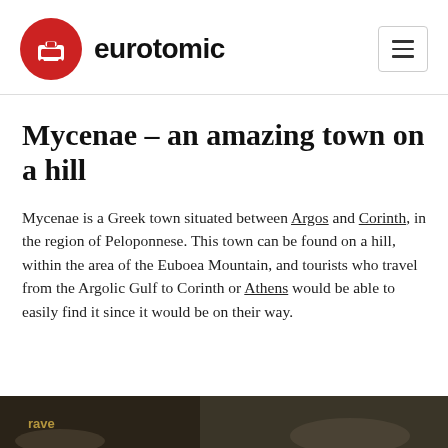eurotomic
Mycenae – an amazing town on a hill
Mycenae is a Greek town situated between Argos and Corinth, in the region of Peloponnese. This town can be found on a hill, within the area of the Euboea Mountain, and tourists who travel from the Argolic Gulf to Corinth or Athens would be able to easily find it since it would be on their way.
[Figure (photo): Partial view of a photo strip at the bottom of the page, showing a dark outdoor scene]